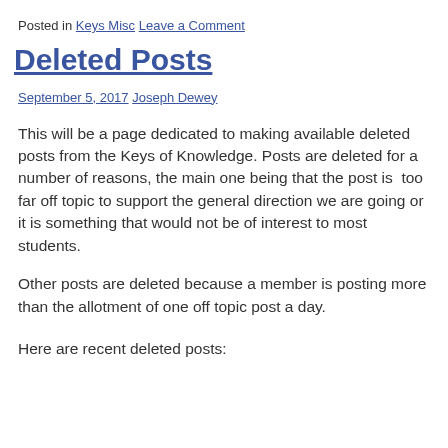Posted in Keys Misc Leave a Comment
Deleted Posts
September 5, 2017 Joseph Dewey
This will be a page dedicated to making available deleted posts from the Keys of Knowledge. Posts are deleted for a number of reasons, the main one being that the post is  too far off topic to support the general direction we are going or it is something that would not be of interest to most students.
Other posts are deleted because a member is posting more than the allotment of one off topic post a day.
Here are recent deleted posts: